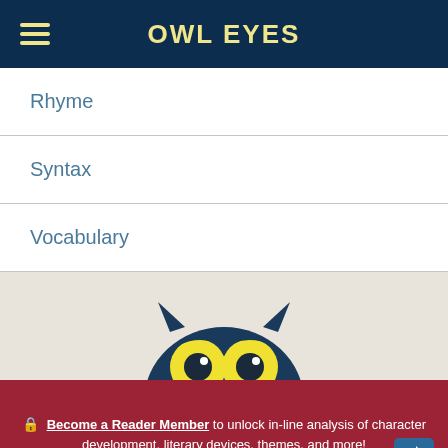OWL EYES
Rhyme
Syntax
Vocabulary
[Figure (illustration): Owl Eyes mascot owl peeking up from bottom of content area, showing top of head with large yellow eyes and dark blue feathers]
🔒 Become a Reader Member to unlock in-line analysis of character development, literary devices, themes, and more!